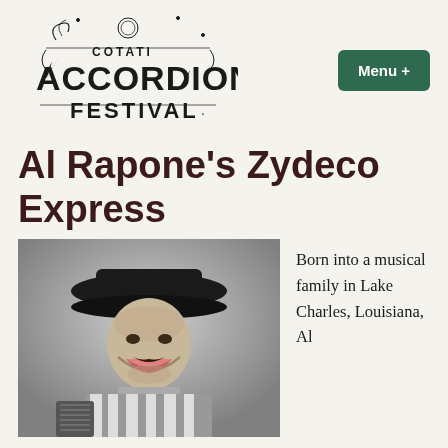[Figure (logo): Cotati Accordion Festival decorative logo with ornate lettering and accordion imagery]
[Figure (other): Green rounded rectangle button with text 'Menu +']
Al Rapone's Zydeco Express
[Figure (photo): Black and white photo of Al Rapone smiling broadly, wearing a wide-brimmed black hat and striped outfit, holding an accordion]
Born into a musical family in Lake Charles, Louisiana, Al